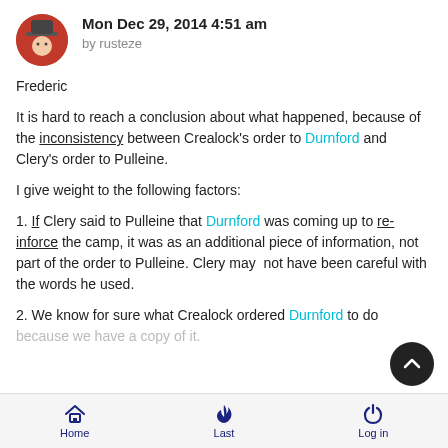Mon Dec 29, 2014 4:51 am by rusteze
Frederic
It is hard to reach a conclusion about what happened, because of the inconsistency between Crealock's order to Durnford and Clery's order to Pulleine.
I give weight to the following factors:
1. If Clery said to Pulleine that Durnford was coming up to re-inforce the camp, it was as an additional piece of information, not part of the order to Pulleine. Clery may not have been careful with the words he used.
2. We know for sure what Crealock ordered Durnford to do because we have a copy of it.
Home   Last   Log in